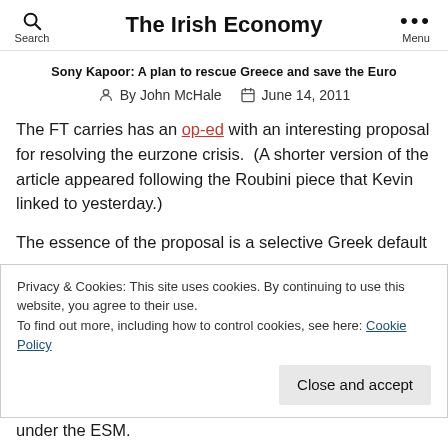Search | The Irish Economy | Menu
Sony Kapoor: A plan to rescue Greece and save the Euro
By John McHale  June 14, 2011
The FT carries has an op-ed with an interesting proposal for resolving the eurzone crisis.  (A shorter version of the article appeared following the Roubini piece that Kevin linked to yesterday.)
The essence of the proposal is a selective Greek default
Privacy & Cookies: This site uses cookies. By continuing to use this website, you agree to their use.
To find out more, including how to control cookies, see here: Cookie Policy
Close and accept
under the ESM.